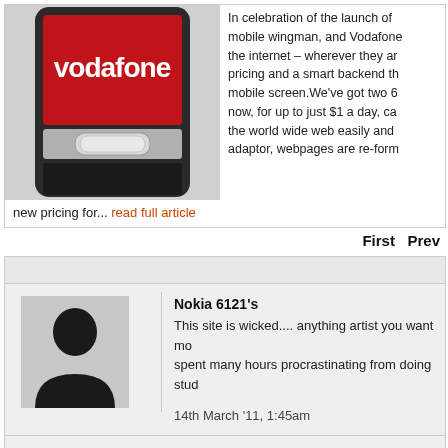[Figure (photo): Vodafone branded mobile phone with red Vodafone logo on screen, shown close up]
In celebration of the launch of mobile wingman, and Vodafone the internet – wherever they a pricing and a smart backend th mobile screen.We've got two 6 now, for up to just $1 a day, ca the world wide web easily and adaptor, webpages are re-form new pricing for...
new pricing for... read full article
First  Prev
Nokia 6121's
This site is wicked.... anything artist you want mo spent many hours procrastinating from doing stud
14th March '11, 1:45am